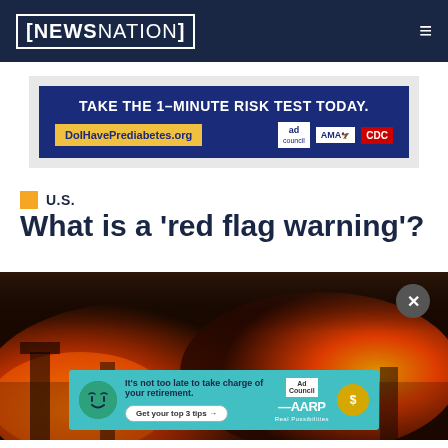NEWSNATION
[Figure (screenshot): Advertisement banner: TAKE THE 1-MINUTE RISK TEST TODAY. DoIHavePrediabetes.org — Ad Council, AMA, CDC logos on dark blue background]
U.S.
What is a 'red flag warning'?
[Figure (photo): Background photo of wildfire / burning structure with orange flames and smoke. Overlaid with an AARP advertisement banner and a close (×) button.]